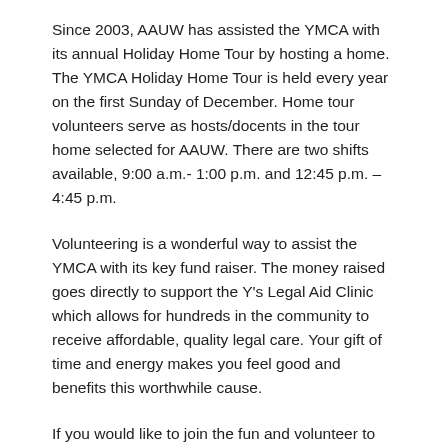Since 2003, AAUW has assisted the YMCA with its annual Holiday Home Tour by hosting a home. The YMCA Holiday Home Tour is held every year on the first Sunday of December. Home tour volunteers serve as hosts/docents in the tour home selected for AAUW. There are two shifts available, 9:00 a.m.- 1:00 p.m. and 12:45 p.m. – 4:45 p.m.
Volunteering is a wonderful way to assist the YMCA with its key fund raiser. The money raised goes directly to support the Y's Legal Aid Clinic which allows for hundreds in the community to receive affordable, quality legal care. Your gift of time and energy makes you feel good and benefits this worthwhile cause.
If you would like to join the fun and volunteer to be a host/docent for this year's home tour, please let us know. Sign up sheets will be available at the September and October Board meetings to contact us for more information with